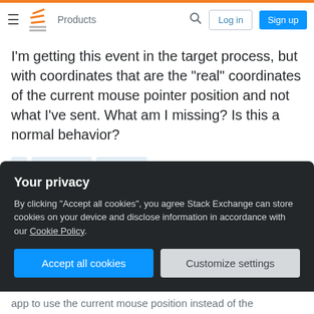Stack Overflow — Products | Log in | Sign up
I'm getting this event in the target process, but with coordinates that are the "real" coordinates of the current mouse pointer position and not what I've sent. What am I missing? Is this a normal behavior?
c
mouseevent
sendinput
Share
edited Sep 8, 2015 at 9:06
Improve this question
Follow
Your privacy
By clicking "Accept all cookies", you agree Stack Exchange can store cookies on your device and disclose information in accordance with our Cookie Policy.
Accept all cookies
Customize settings
app to use the current mouse position instead of the